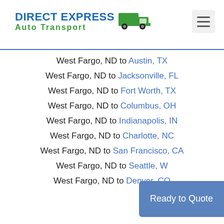[Figure (logo): Direct Express Auto Transport logo with truck icon]
West Fargo, ND to Austin, TX
West Fargo, ND to Jacksonville, FL
West Fargo, ND to Fort Worth, TX
West Fargo, ND to Columbus, OH
West Fargo, ND to Indianapolis, IN
West Fargo, ND to Charlotte, NC
West Fargo, ND to San Francisco, CA
West Fargo, ND to Seattle, W...
West Fargo, ND to Denver, CO
Ready to Quote